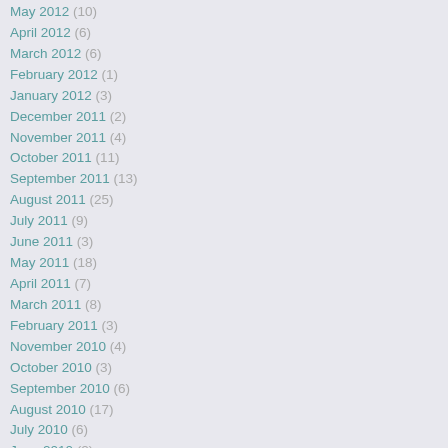May 2012 (10)
April 2012 (6)
March 2012 (6)
February 2012 (1)
January 2012 (3)
December 2011 (2)
November 2011 (4)
October 2011 (11)
September 2011 (13)
August 2011 (25)
July 2011 (9)
June 2011 (3)
May 2011 (18)
April 2011 (7)
March 2011 (8)
February 2011 (3)
November 2010 (4)
October 2010 (3)
September 2010 (6)
August 2010 (17)
July 2010 (6)
June 2010 (2)
May 2010 (1)